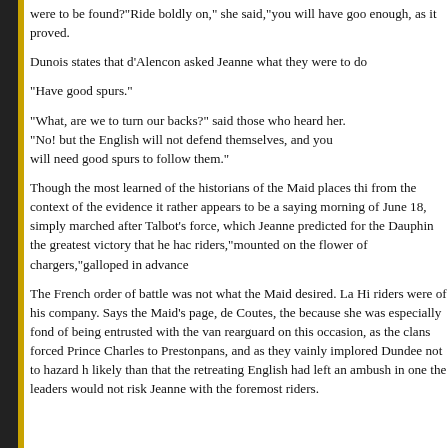were to be found?"Ride boldly on," she said,"you will have good enough, as it proved.
Dunois states that d'Alencon asked Jeanne what they were to do
"Have good spurs."
"What, are we to turn our backs?" said those who heard her. "No! but the English will not defend themselves, and you will need good spurs to follow them."
Though the most learned of the historians of the Maid places thi from the context of the evidence it rather appears to be a saying morning of June 18, simply marched after Talbot's force, which Jeanne predicted for the Dauphin the greatest victory that he had riders,"mounted on the flower of chargers,"galloped in advance
The French order of battle was not what the Maid desired. La Hi riders were of his company. Says the Maid's page, de Coutes, th because she was especially fond of being entrusted with the van rearguard on this occasion, as the clans forced Prince Charles to Prestonpans, and as they vainly implored Dundee not to hazard h likely than that the retreating English had left an ambush in one the leaders would not risk Jeanne with the foremost riders.